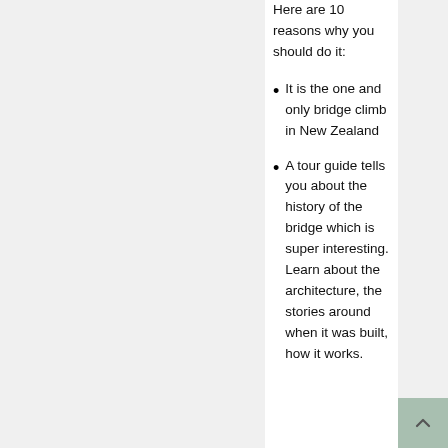Here are 10 reasons why you should do it:
It is the one and only bridge climb in New Zealand
A tour guide tells you about the history of the bridge which is super interesting. Learn about the architecture, the stories around when it was built, how it works.